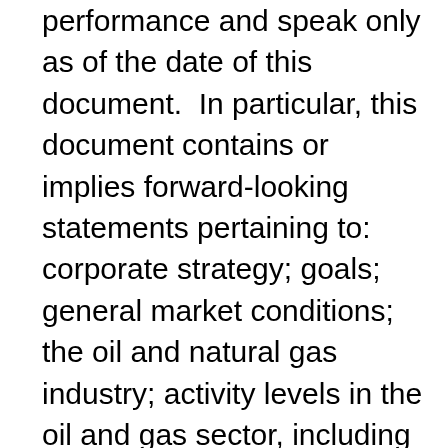performance and speak only as of the date of this document.  In particular, this document contains or implies forward-looking statements pertaining to: corporate strategy; goals; general market conditions; the oil and natural gas industry; activity levels in the oil and gas sector, including market fundamentals and the impact to each division on revenue and operating margins, drilling levels, commodity prices for oil, natural gas liquids ("NGLs") and natural gas; industry fundamentals for the third and fourth quarters of 2015; capital forecasts and spending by producers; demand for the Corporation's services; expansion strategy; the impact of the reduction in oil and gas activity on 2015